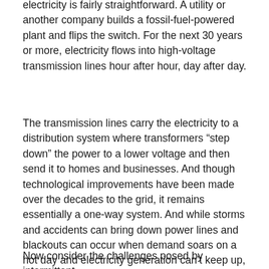electricity is fairly straightforward. A utility or another company builds a fossil-fuel-powered plant and flips the switch. For the next 30 years or more, electricity flows into high-voltage transmission lines hour after hour, day after day.
The transmission lines carry the electricity to a distribution system where transformers “step down” the power to a lower voltage and then send it to homes and businesses. And though technological improvements have been made over the decades to the grid, it remains essentially a one-way system. And while storms and accidents can bring down power lines and blackouts can occur when demand soars on a hot day and electricity generation can’t keep up, power flows 24/7 from a natural gas or coal-fired plant.
Now consider the challenges posed by intermittent sources of electricity, such as wind and solar...